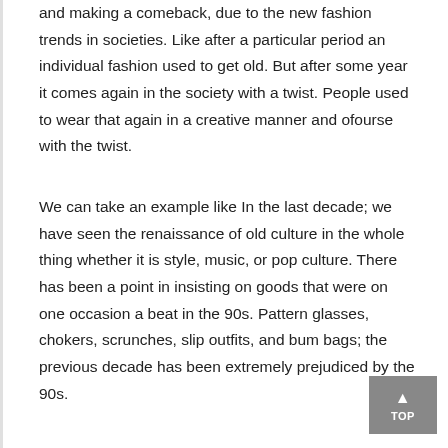and making a comeback, due to the new fashion trends in societies. Like after a particular period an individual fashion used to get old. But after some year it comes again in the society with a twist. People used to wear that again in a creative manner and ofourse with the twist.
We can take an example like In the last decade; we have seen the renaissance of old culture in the whole thing whether it is style, music, or pop culture. There has been a point in insisting on goods that were on one occasion a beat in the 90s. Pattern glasses, chokers, scrunches, slip outfits, and bum bags; the previous decade has been extremely prejudiced by the 90s.